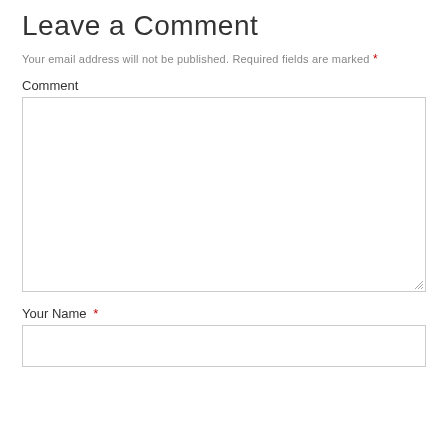Leave a Comment
Your email address will not be published. Required fields are marked *
Comment
[Figure (other): Large empty comment text area input box with resize handle at bottom right]
Your Name *
[Figure (other): Single-line text input box for Your Name]